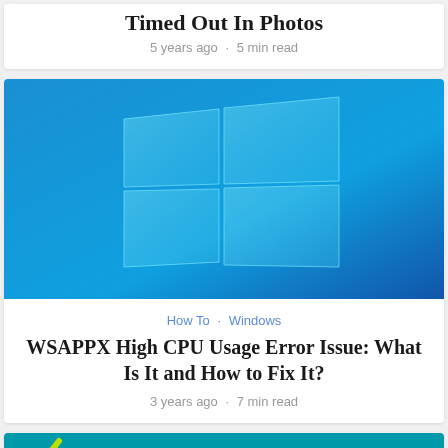Timed Out In Photos
5 years ago · 5 min read
[Figure (screenshot): Windows 10 logo on blue gradient background]
How To · Windows
WSAPPX High CPU Usage Error Issue: What Is It and How to Fix It?
3 years ago · 7 min read
[Figure (screenshot): Fix article thumbnail with teal background and FIX text in yellow-green]